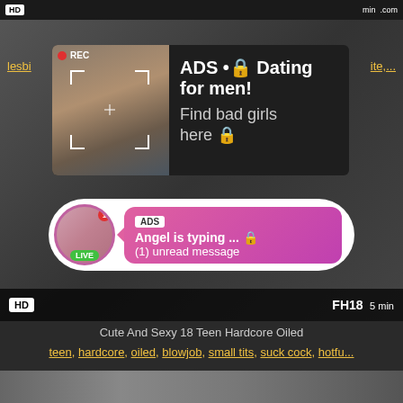[Figure (screenshot): Video thumbnail with HD badge and REC indicator overlay showing an ad popup with text 'ADS • Dating for men! Find bad girls here' and a live chat widget showing 'Angel is typing ... (1) unread message'. Bottom bar shows FH18 branding and 5 min duration.]
Cute And Sexy 18 Teen Hardcore Oiled
teen, hardcore, oiled, blowjob, small tits, suck cock, hotfu...
[Figure (screenshot): Bottom thumbnail strip preview]